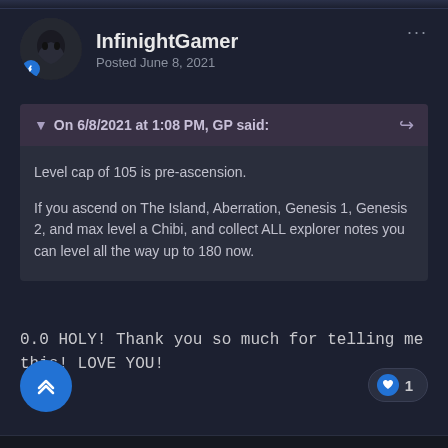InfinightGamer
Posted June 8, 2021
On 6/8/2021 at 1:08 PM, GP said:
Level cap of 105 is pre-ascension.

If you ascend on The Island, Aberration, Genesis 1, Genesis 2, and max level a Chibi, and collect ALL explorer notes you can level all the way up to 180 now.
0.0 HOLY!  Thank you so much for telling me this! LOVE YOU!